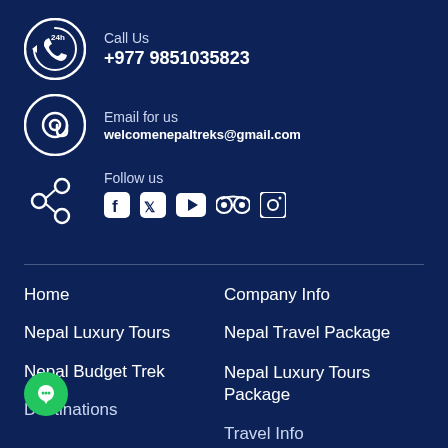Call Us
+977 9851035823
Email for us
welcomenepaltreks@gmail.com
Follow us
Home
Nepal Luxury Tours
Nepal Budget Trek
Destinations
Company Info
Nepal Travel Package
Nepal Luxury Tours Package
Travel Info